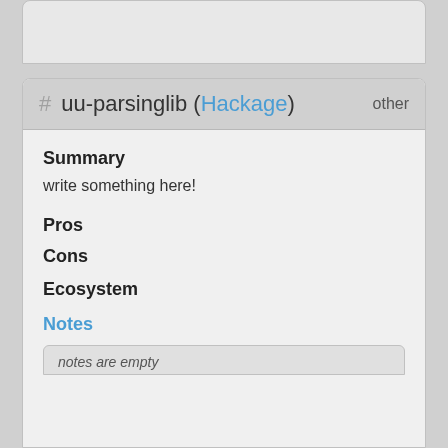# uu-parsinglib (Hackage) other
Summary
write something here!
Pros
Cons
Ecosystem
Notes
notes are empty